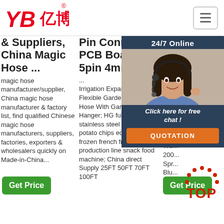[Figure (logo): YB亿博 logo in red italic text with registered trademark symbol]
& Suppliers, China Magic Hose ...
magic hose manufacturer/supplier, China magic hose manufacturer & factory list, find qualified Chinese magic hose manufacturers, suppliers, factories, exporters & wholesalers quickly on Made-in-China...
Get Price
Pin Connector PCB Board 5pin 4mm 2 4 ...
... Irrigation Expandable Flexible Garden Water Pipe Hose With Garden Hose Hanger; HG full automatic stainless steel high capacity potato chips equipment frozen french fries production line snack food machine; China direct Supply 25FT 50FT 70FT 100FT
Hose Flexible Ex... Ga...
Xin... Gar... Fle... Exp... Wa... For... Wa... 200... Spr... Blu... Amazon.co.uk: Garden ...
Get Price
[Figure (photo): Customer service agent woman with headset, 24/7 Online chat overlay with dark blue background]
24/7 Online
Click here for free chat !
QUOTATION
[Figure (illustration): TOP badge with dotted arch decoration]